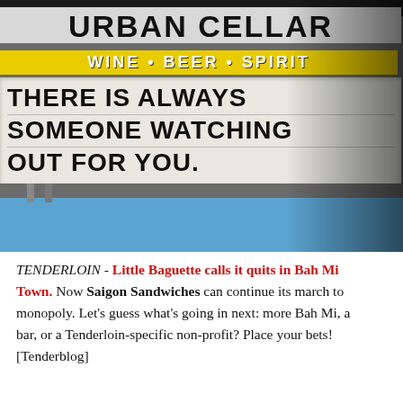[Figure (photo): Photo of Urban Cellar store sign reading 'URBAN CELLAR / WINE • BEER • SPIRITS' with a marquee sign below saying 'THERE IS ALWAYS SOMEONE WATCHING OUT FOR YOU.' Shot from below against a blue sky with shadow across part of the sign.]
TENDERLOIN - Little Baguette calls it quits in Bah Mi Town. Now Saigon Sandwiches can continue its march to monopoly. Let's guess what's going in next: more Bah Mi, a bar, or a Tenderloin-specific non-profit? Place your bets! [Tenderblog]